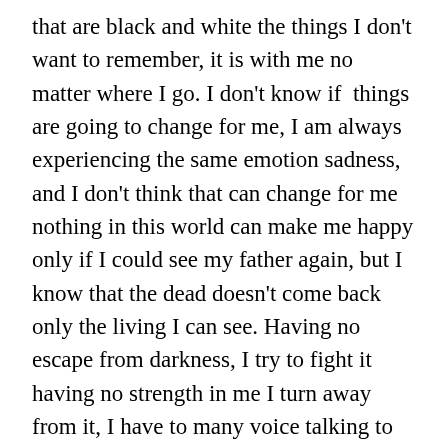that are black and white the things I don't want to remember, it is with me no matter where I go. I don't know if  things are going to change for me, I am always experiencing the same emotion sadness, and I don't think that can change for me nothing in this world can make me happy only if I could see my father again, but I know that the dead doesn't come back only the living I can see. Having no escape from darkness, I try to fight it having no strength in me I turn away from it, I have to many voice talking to me in my head. I wish I could just fly away but it doesn't go that way my dad is dead my mother is somewhere out there where is there to go?